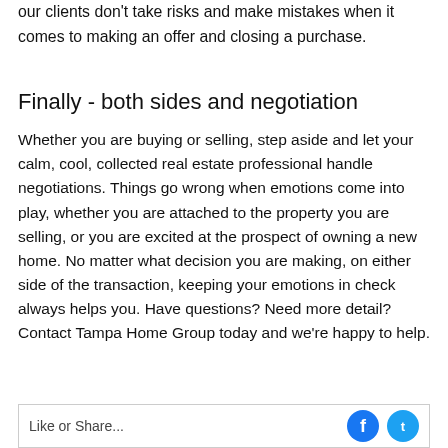our clients don't take risks and make mistakes when it comes to making an offer and closing a purchase.
Finally - both sides and negotiation
Whether you are buying or selling, step aside and let your calm, cool, collected real estate professional handle negotiations. Things go wrong when emotions come into play, whether you are attached to the property you are selling, or you are excited at the prospect of owning a new home. No matter what decision you are making, on either side of the transaction, keeping your emotions in check always helps you. Have questions? Need more detail? Contact Tampa Home Group today and we're happy to help.
Like or Share...